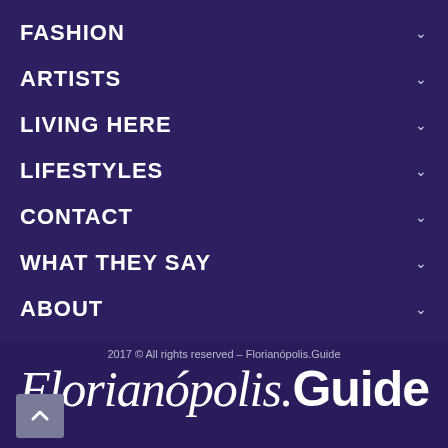FASHION
ARTISTS
LIVING HERE
LIFESTYLES
CONTACT
WHAT THEY SAY
ABOUT
2017 © All rights reserved – Florianópolis.Guide
Florianópolis.Guide